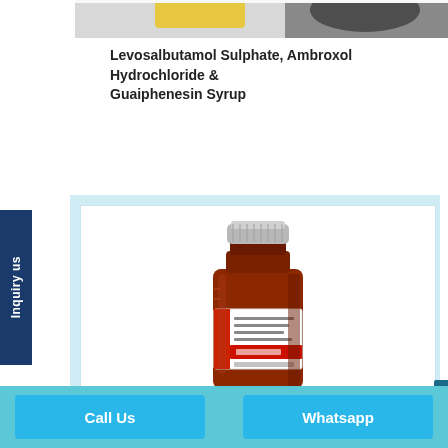[Figure (photo): Partial top view of a product image, likely medication packaging with yellow and dark colored items visible at the top edge]
Levosalbutamol Sulphate, Ambroxol Hydrochloride & Guaiphenesin Syrup
[Figure (photo): A brown glass syrup bottle with a silver metal cap and a red/white label, placed in a light blue framed product card. The bottle contains Levosalbutamol Sulphate, Ambroxol Hydrochloride & Guaiphenesin Syrup.]
Inquiry us
Call Us
Whatsapp